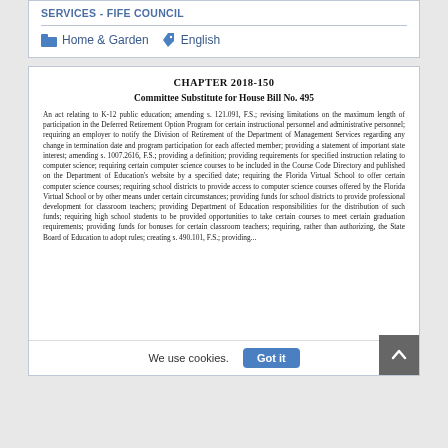SERVICES - FIFE COUNCIL
Home & Garden   English
CHAPTER 2018-150
Committee Substitute for House Bill No. 495
An act relating to K-12 public education; amending s. 121.091, F.S.; revising limitations on the maximum length of participation in the Deferred Retirement Option Program for certain instructional personnel and administrative personnel; requiring an employer to notify the Division of Retirement of the Department of Management Services regarding any change in termination date and program participation for each affected member; providing a statement of important state interest; amending s. 1007.2616, F.S.; providing a definition; providing requirements for specified instruction relating to computer science; requiring certain computer science courses to be included in the Course Code Directory and published on the Department of Education's website by a specified date; requiring the Florida Virtual School to offer certain computer science courses; requiring school districts to provide access to computer science courses offered by the Florida Virtual School or by other means under certain circumstances; providing funds for school districts to provide professional development for classroom teachers; providing Department of Education responsibilities for the distribution of such funds; requiring high school students to be provided opportunities to take certain courses to meet certain graduation requirements; providing funds for bonuses for certain classroom teachers; requiring, rather than authorizing, the State Board of Education to adopt rules; creating s. 490.101, F.S.; providing...